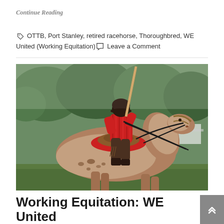Continue Reading
OTTB, Port Stanley, retired racehorse, Thoroughbred, WE United (Working Equitation) Leave a Comment
[Figure (photo): A rider on an Appaloosa horse with red saddle pad, wearing a red patterned shirt and dark helmet, holding a long lance/pole upright. Green trees in the background on an overcast day.]
Working Equitation: WE United